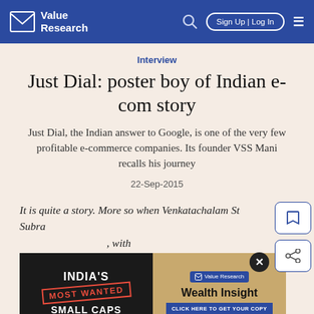Value Research — Sign Up | Log In
Interview
Just Dial: poster boy of Indian e-com story
Just Dial, the Indian answer to Google, is one of the very few profitable e-commerce companies. Its founder VSS Mani recalls his journey
22-Sep-2015
It is quite a story. More so when Venkatachalam Subramanian (VSS Mani) tells it in his own inimitable way, with a slight South Indian accent, and with impeccable comic timing.